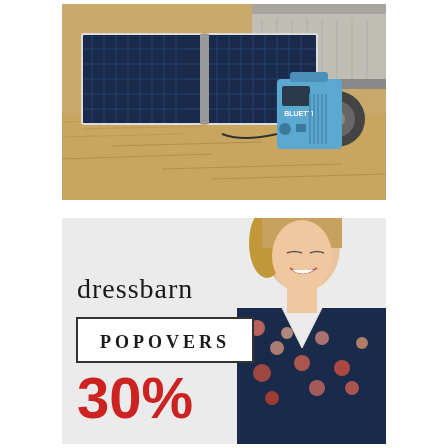[Figure (photo): Solar panel array leaning against a trailer outdoors on dry grass, with a portable blue Bluetti power station connected to it.]
[Figure (photo): Dressbarn advertisement showing a smiling woman wearing a floral navy blouse, with the text 'dressbarn', 'POPOVERS', and '30%' visible.]